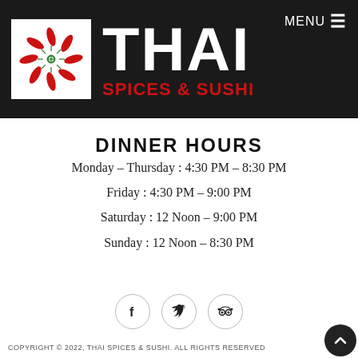[Figure (logo): Thai Spices & Sushi logo: white square with red chili peppers arranged in a pinwheel/spiral pattern with a green star center, beside large white THAI text and red SPICES & SUSHI text on dark background]
DINNER HOURS
Monday – Thursday : 4:30 PM – 8:30 PM
Friday : 4:30 PM – 9:00 PM
Saturday : 12 Noon – 9:00 PM
Sunday : 12 Noon – 8:30 PM
[Figure (other): Social media icons: Facebook (f), Twitter (bird), TripAdvisor (owl) — each in a light circular border]
COPYRIGHT © 2022, THAI SPICES & SUSHI. ALL RIGHTS RESERVED